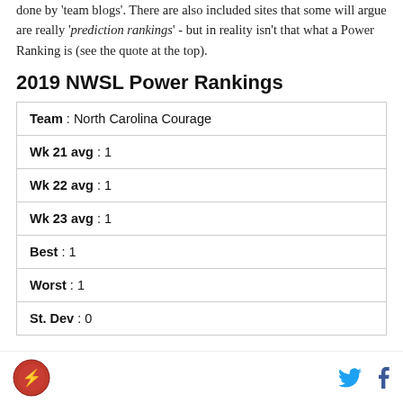done by 'team blogs'. There are also included sites that some will argue are really 'prediction rankings' - but in reality isn't that what a Power Ranking is (see the quote at the top).
2019 NWSL Power Rankings
| Team : North Carolina Courage |
| Wk 21 avg : 1 |
| Wk 22 avg : 1 |
| Wk 23 avg : 1 |
| Best : 1 |
| Worst : 1 |
| St. Dev : 0 |